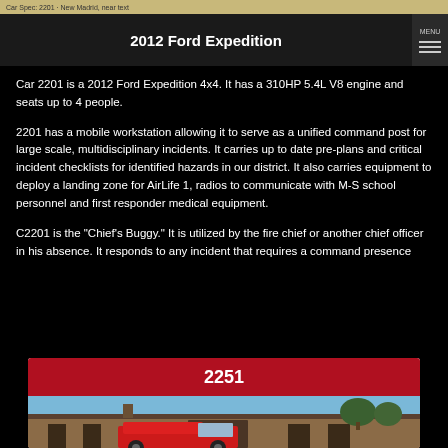2012 Ford Expedition
Car 2201 is a 2012 Ford Expedition 4x4. It has a 310HP 5.4L V8 engine and seats up to 4 people.
2201 has a mobile workstation allowing it to serve as a unified command post for large scale, multidisciplinary incidents. It carries up to date pre-plans and critical incident checklists for identified hazards in our district. It also carries equipment to deploy a landing zone for AirLife 1, radios to communicate with M-S school personnel and first responder medical equipment.
C2201 is the "Chief's Buggy." It is utilized by the fire chief or another chief officer in his absence. It responds to any incident that requires a command presence
2251
[Figure (photo): Photograph of a fire truck in front of a brick fire station building, taken from a low angle showing the front of the vehicle and the station facade under a blue sky.]